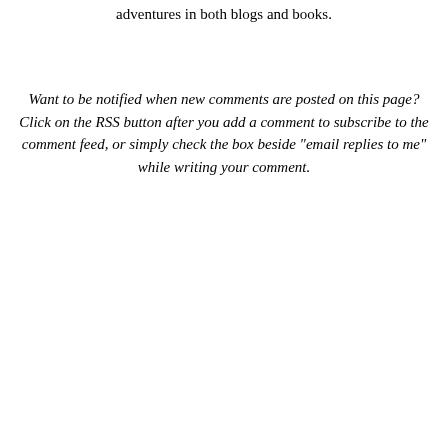adventures in both blogs and books.
Want to be notified when new comments are posted on this page? Click on the RSS button after you add a comment to subscribe to the comment feed, or simply check the box beside "email replies to me" while writing your comment.